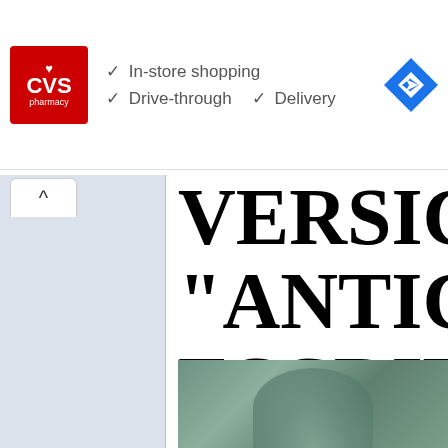[Figure (screenshot): CVS Pharmacy advertisement banner showing logo and service features: In-store shopping, Drive-through, Delivery checkmarks, and a blue navigation arrow icon]
VERSICU
"ANTICIP
ESCRITO
DAN BRO
"AGUJER
[Figure (photo): Partial image of a face with greenish/teal tint at bottom right of page]